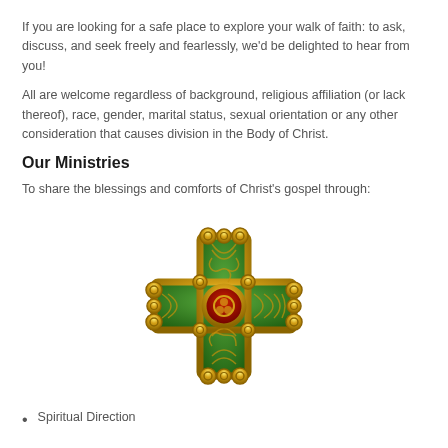If you are looking for a safe place to explore your walk of faith: to ask, discuss, and seek freely and fearlessly, we'd be delighted to hear from you!
All are welcome regardless of background, religious affiliation (or lack thereof), race, gender, marital status, sexual orientation or any other consideration that causes division in the Body of Christ.
Our Ministries
To share the blessings and comforts of Christ's gospel through:
[Figure (illustration): A decorative Celtic cross with gold ornamental knotwork design on a green and red background, featuring scrolled terminals at the ends of each arm.]
Spiritual Direction